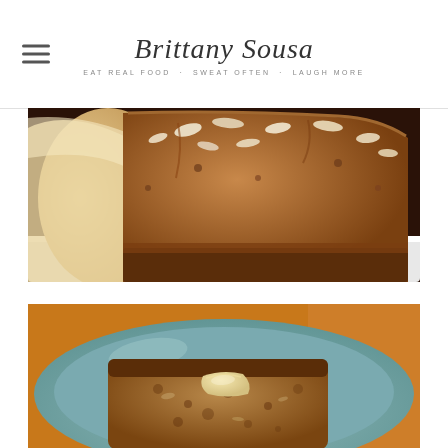Brittany Sousa — EAT REAL FOOD · SWEAT OFTEN · LAUGH MORE
[Figure (photo): Close-up of a sliced loaf of bread topped with rolled oats, golden-brown crust, on a white plate]
[Figure (photo): A slice of oat bread with a pat of butter on top, served on a teal/blue plate]